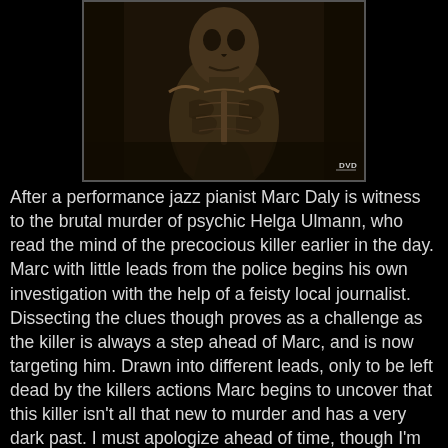[Figure (photo): A dark, sepia-toned photograph of what appears to be a mummified or skeletal figure/corpse, shown from the torso up, with a DVD logo watermark in the lower right corner of the image.]
After a performance jazz pianist Marc Daly is witness to the brutal murder of psychic Helga Ulmann, who read the mind of the precocious killer earlier in the day. Marc with little leads from the police begins his own investigation with the help of a feisty local journalist. Dissecting the clues though proves as a challenge as the killer is always a step ahead of Marc, and is now targeting him. Drawn into different leads, only to be left dead by the killers actions Marc begins to uncover that this killer isn't all that new to murder and has a very dark past. I must apologize ahead of time, though I'm not comparing it to Suspiria, the film comes up several times in this review, but do know that I do not measure this based on my love of Dario Argento's masterpiece, merely just using